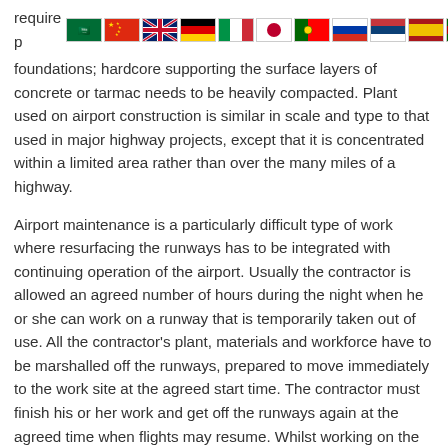[Figure (other): Row of international country flags (Saudi Arabia, China, UK, Germany, Italy, Japan, Portugal, Russia, Serbia, Spain, Kenya) appearing inline with partial text 'require p...' at top of page]
foundations; hardcore supporting the surface layers of concrete or tarmac needs to be heavily compacted. Plant used on airport construction is similar in scale and type to that used in major highway projects, except that it is concentrated within a limited area rather than over the many miles of a highway.
Airport maintenance is a particularly difficult type of work where resurfacing the runways has to be integrated with continuing operation of the airport. Usually the contractor is allowed an agreed number of hours during the night when he or she can work on a runway that is temporarily taken out of use. All the contractor's plant, materials and workforce have to be marshalled off the runways, prepared to move immediately to the work site at the agreed start time. The contractor must finish his or her work and get off the runways again at the agreed time when flights may resume. Whilst working on the runway, the contractor must not impede or otherwise endanger aircraft movement on other runways.